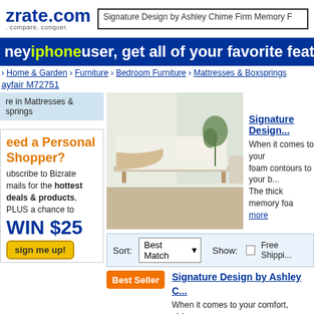trate.com · compare. conquer. | Search: Signature Design by Ashley Chime Firm Memory F
ney iphone user, get all of your favorite feat
> Home & Garden > Furniture > Bedroom Furniture > Mattresses & Boxsprings
ayfair M72751
re in Mattresses & springs
eed a Personal Shopper?
ubscribe to Bizrate mails for the hottest deals & products, PLUS a chance to WIN $25
[Figure (photo): White bedroom with a white mattress on a bed frame with natural wood legs, beige throw blanket, and a small plant in the background]
Signature Design by Ashley...
When it comes to your comfort, foam contours to your body. The thick memory foam... more
Sort: Best Match ▼   Show: □ Free Shipping
Signature Design by Ashley C...
When it comes to your comfort, chime this 12-inch memory foam mattress...
Best Seller